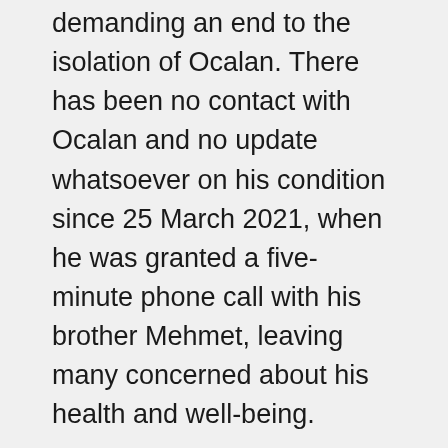demanding an end to the isolation of Ocalan. There has been no contact with Ocalan and no update whatsoever on his condition since 25 March 2021, when he was granted a five-minute phone call with his brother Mehmet, leaving many concerned about his health and well-being.
It is difficult to overstate the significance of Abdullah Ocalan; it has been demonstrated in the last 20 years that he is the only person offering a substantial alternative to the current situation that has the potential to resolve and move beyond the deeply entrenched problematics responsible for the present crisis and bloodshed, opening up a horizon for peace in each of the four countries in which the Kurds reside, and more so, for the